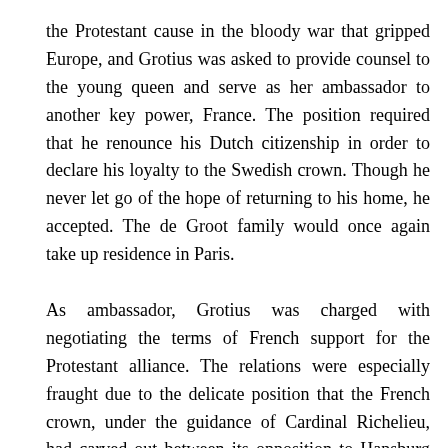the Protestant cause in the bloody war that gripped Europe, and Grotius was asked to provide counsel to the young queen and serve as her ambassador to another key power, France. The position required that he renounce his Dutch citizenship in order to declare his loyalty to the Swedish crown. Though he never let go of the hope of returning to his home, he accepted. The de Groot family would once again take up residence in Paris.
As ambassador, Grotius was charged with negotiating the terms of French support for the Protestant alliance. The relations were especially fraught due to the delicate position that the French crown, under the guidance of Cardinal Richelieu, had carved out between its opposition to Hapsburg power and its defense of Catholicism. As France increasingly entered the battle fray, much of Grotius' duty was directed to the war effort. His scholarly projects from the late 1630s-40s, however, took as their object a long-cherished goal: the reconciliation and peace of the Christian community. He began in 1638 on a